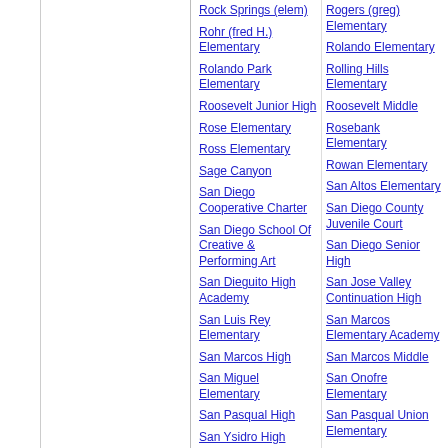Rock Springs (elem)
Rogers (greg) Elementary
Rohr (fred H.) Elementary
Rolando Elementary
Rolando Park Elementary
Rolling Hills Elementary
Roosevelt Junior High
Roosevelt Middle
Rose Elementary
Rosebank Elementary
Ross Elementary
Rowan Elementary
Sage Canyon
San Altos Elementary
San Diego Cooperative Charter
San Diego County Juvenile Court
San Diego School Of Creative & Performing Art
San Diego Senior High
San Dieguito High Academy
San Jose Valley Continuation High
San Luis Rey Elementary
San Marcos Elementary Academy
San Marcos High
San Marcos Middle
San Miguel Elementary
San Onofre Elementary
San Pasqual High
San Pasqual Union Elementary
San Ysidro High
San Ysidro Middle
Sandburg
Santa Margarita